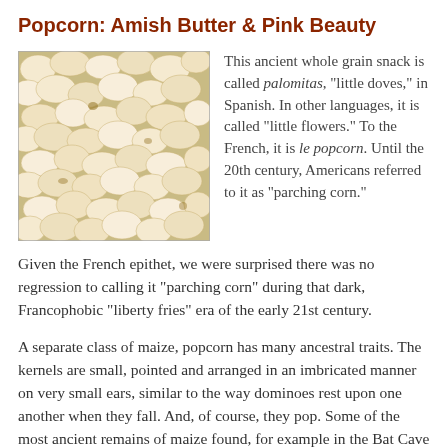Popcorn: Amish Butter & Pink Beauty
[Figure (photo): Close-up photo of popped popcorn kernels, white and yellow, filling the frame]
This ancient whole grain snack is called palomitas, "little doves," in Spanish. In other languages, it is called "little flowers." To the French, it is le popcorn. Until the 20th century, Americans referred to it as "parching corn."
Given the French epithet, we were surprised there was no regression to calling it "parching corn" during that dark, Francophobic "liberty fries" era of the early 21st century.
A separate class of maize, popcorn has many ancestral traits. The kernels are small, pointed and arranged in an imbricated manner on very small ears, similar to the way dominoes rest upon one another when they fall. And, of course, they pop. Some of the most ancient remains of maize found, for example in the Bat Cave of New Mexico that was occupied 3,000 years ago, have popping type